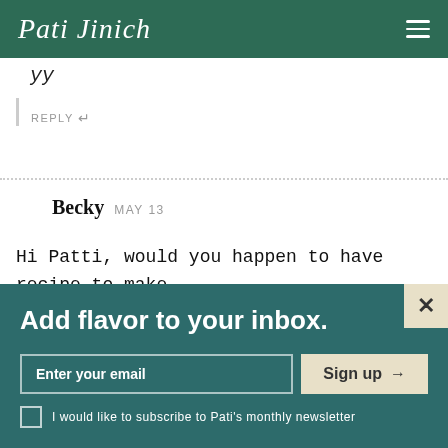Pati Jinich
REPLY ↵
Becky  MAY 13
Hi Patti, would you happen to have recipe to make calabacates or crystallized pumpkin … would really
Add flavor to your inbox.
Enter your email
Sign up →
I would like to subscribe to Pati's monthly newsletter